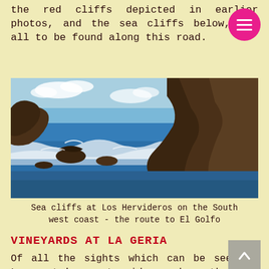the red cliffs depicted in earlier photos, and the sea cliffs below, are all to be found along this road.
[Figure (photo): Sea cliffs at Los Hervideros on the South west coast of Lanzarote, showing dark volcanic rock formations with ocean waves crashing below and blue sky above.]
Sea cliffs at Los Hervideros on the South west coast - the route to El Golfo
VINEYARDS AT LA GERIA
Of all the sights which can be seen in Lanzarote's countryside, perhaps the most unique and characteristic of the island are the vineyards. The very dry climate means that quite innovative techniques need to be employed to successfully grow a commercial